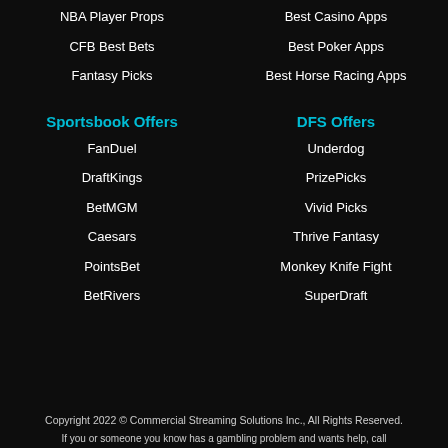NBA Player Props
Best Casino Apps
CFB Best Bets
Best Poker Apps
Fantasy Picks
Best Horse Racing Apps
Sportsbook Offers
DFS Offers
FanDuel
Underdog
DraftKings
PrizePicks
BetMGM
Vivid Picks
Caesars
Thrive Fantasy
PointsBet
Monkey Knife Fight
BetRivers
SuperDraft
Copyright 2022 © Commercial Streaming Solutions Inc., All Rights Reserved.
If you or someone you know has a gambling problem and wants help, call